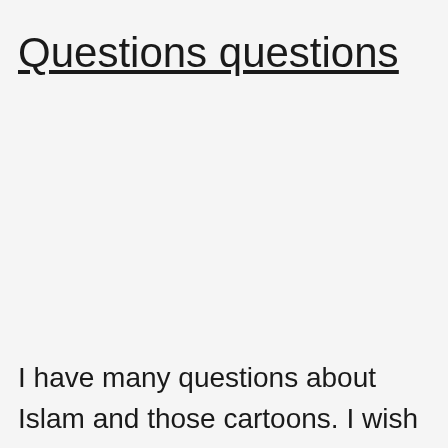Questions questions
I have many questions about Islam and those cartoons. I wish I could sit down with one of the